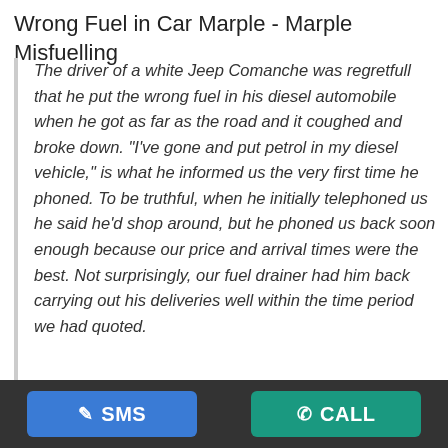Wrong Fuel in Car Marple - Marple Misfuelling
The driver of a white Jeep Comanche was regretfull that he put the wrong fuel in his diesel automobile when he got as far as the road and it coughed and broke down. "I've gone and put petrol in my diesel vehicle," is what he informed us the very first time he phoned. To be truthful, when he initially telephoned us he said he'd shop around, but he phoned us back soon enough because our price and arrival times were the best. Not surprisingly, our fuel drainer had him back carrying out his deliveries well within the time period we had quoted.
It's becoming a widespread problem, and side of the road rescue employees possess the know-how and equipment to take care of